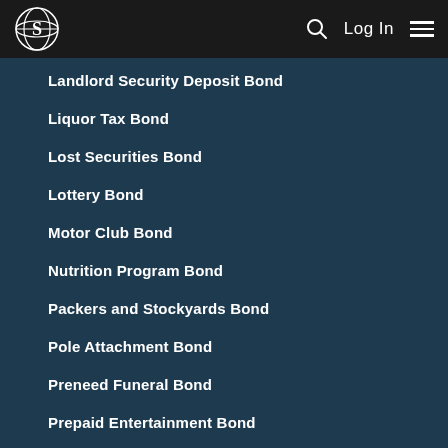S [logo] | Search | Log In | Menu
Landlord Security Deposit Bond
Liquor Tax Bond
Lost Securities Bond
Lottery Bond
Motor Club Bond
Nutrition Program Bond
Packers and Stockyards Bond
Pole Attachment Bond
Preneed Funeral Bond
Prepaid Entertainment Bond
Prepaid Legal Services Bond